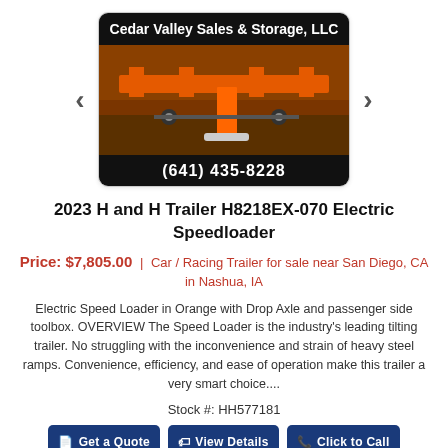[Figure (photo): Dealer card showing Cedar Valley Sales & Storage, LLC with orange trailer photo and phone number (641) 435-8228]
2023 H and H Trailer H8218EX-070 Electric Speedloader
Price: $7,805.00 | Car / Racing Trailer for sale near San Diego, CA in Nashua, IA
Electric Speed Loader in Orange with Drop Axle and passenger side toolbox. OVERVIEW The Speed Loader is the industry's leading tilting trailer. No struggling with the inconvenience and strain of heavy steel ramps. Convenience, efficiency, and ease of operation make this trailer a very smart choice....
Stock #: HH577181